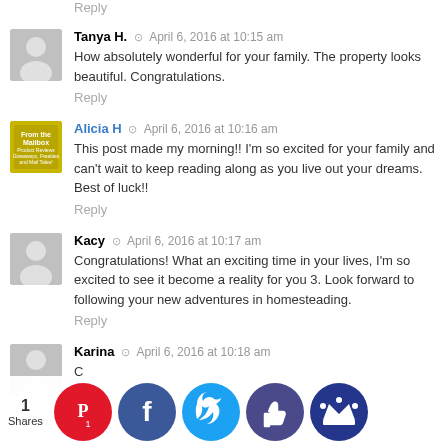Reply
Tanya H. ⊙ April 6, 2016 at 10:15 am
How absolutely wonderful for your family. The property looks beautiful. Congratulations.
Reply
Alicia H ⊙ April 6, 2016 at 10:16 am
This post made my morning!! I'm so excited for your family and can't wait to keep reading along as you live out your dreams. Best of luck!!
Reply
Kacy ⊙ April 6, 2016 at 10:17 am
Congratulations! What an exciting time in your lives, I'm so excited to see it become a reality for you 3. Look forward to following your new adventures in homesteading.
Reply
Karina ⊙ April 6, 2016 at 10:18 am
C...ation... me to...t!
Rep...
1 Shares